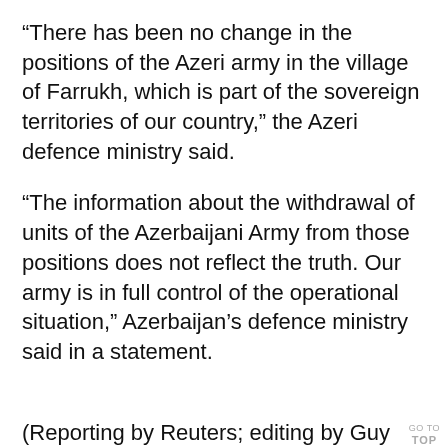“There has been no change in the positions of the Azeri army in the village of Farrukh, which is part of the sovereign territories of our country,” the Azeri defence ministry said.
“The information about the withdrawal of units of the Azerbaijani Army from those positions does not reflect the truth. Our army is in full control of the operational situation,” Azerbaijan’s defence ministry said in a statement.
(Reporting by Reuters; editing by Guy